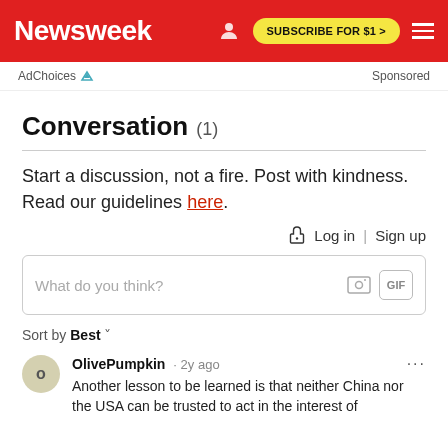Newsweek  SUBSCRIBE FOR $1 >
AdChoices   Sponsored
Conversation (1)
Start a discussion, not a fire. Post with kindness. Read our guidelines here.
Log in | Sign up
What do you think?
Sort by Best
OlivePumpkin · 2y ago
Another lesson to be learned is that neither China nor the USA can be trusted to act in the interest of